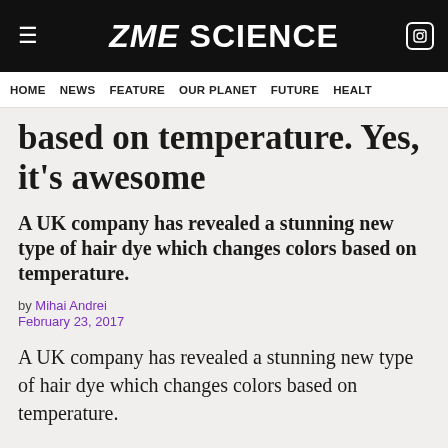ZME SCIENCE
HOME  NEWS  FEATURE  OUR PLANET  FUTURE  HEALT
based on temperature. Yes, it's awesome
A UK company has revealed a stunning new type of hair dye which changes colors based on temperature.
by Mihai Andrei
February 23, 2017
A UK company has revealed a stunning new type of hair dye which changes colors based on temperature.